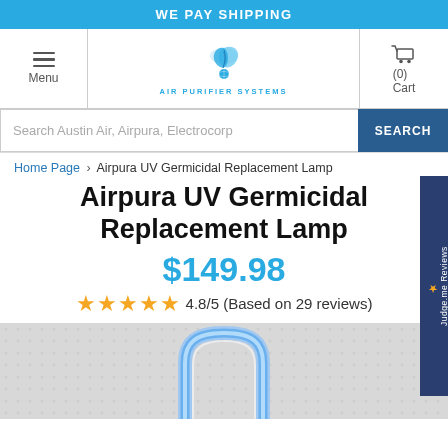WE PAY SHIPPING
[Figure (logo): Air Purifier Systems logo with blue flame/feather swirl above a globe, text AIR PURIFIER SYSTEMS]
Menu
(0) Cart
Search Austin Air, Airpura, Electrocorp
SEARCH
Home Page › Airpura UV Germicidal Replacement Lamp
Airpura UV Germicidal Replacement Lamp
$149.98
4.8/5 (Based on 29 reviews)
[Figure (photo): UV germicidal replacement lamp product photo, U-shaped blue/white UV bulb on gray dotted background]